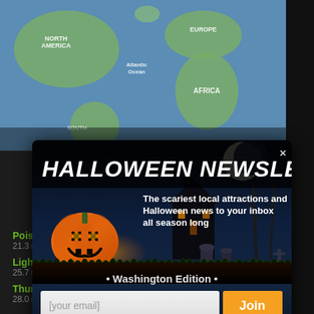[Figure (screenshot): World map showing North America, Europe, Africa, South America with Atlantic Ocean label, blue ocean background]
[Figure (infographic): Halloween Newsletter popup modal with jack-o-lantern pumpkin, spooky graveyard scene, email signup form. Title: HALLOWEEN NEWSLETTER with close X button. Text: The scariest local attractions and Halloween news to your inbox all season long. Washington Edition. Email input field and orange Join button.]
Poison Museum
21.3 miles away
Lighthouse Oceanfront Resort
25.7 miles away
Thunderbird Motel
28.0 miles away
[Figure (logo): reCAPTCHA widget with circular arrow icon and Privacy - Terms text]